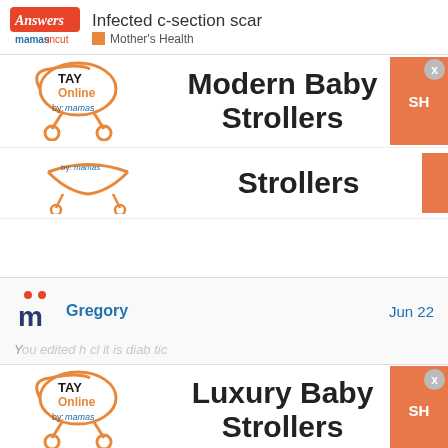Infected c-section scar | Mother's Health
[Figure (logo): TAY Online by mamas logo - stroller icon with text, first ad banner for Modern Baby Strollers]
Modern Baby Strollers
[Figure (logo): TAY Online by mamas logo - stroller icon, second ad banner for Strollers]
Strollers
[Figure (logo): Mamas Uncut user icon - letter m with dots]
Gregory
Jun 22
[Figure (logo): TAY Online by mamas logo - stroller icon, bottom ad banner for Luxury Baby Strollers]
Luxury Baby Strollers